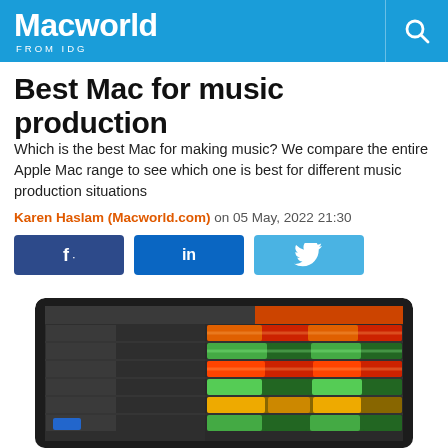Macworld FROM IDG
Best Mac for music production
Which is the best Mac for making music? We compare the entire Apple Mac range to see which one is best for different music production situations
Karen Haslam (Macworld.com) on 05 May, 2022 21:30
[Figure (screenshot): Social sharing buttons: Facebook, LinkedIn, Twitter]
[Figure (screenshot): Screenshot of a digital audio workstation (DAW) software, likely Logic Pro, showing multiple tracks with red, orange, green audio waveform clips arranged in a session view on a MacBook laptop.]